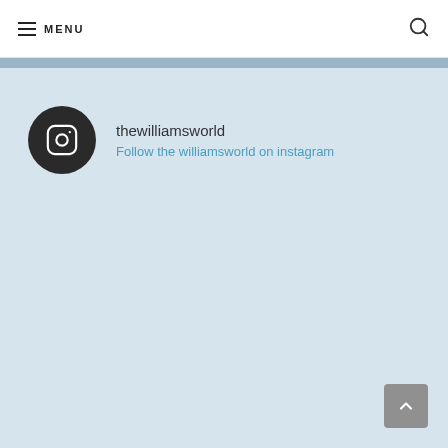MENU
[Figure (logo): Instagram logo circle icon with username thewilliamsworld and follow link text]
thewilliamsworld
Follow the williamsworld on instagram